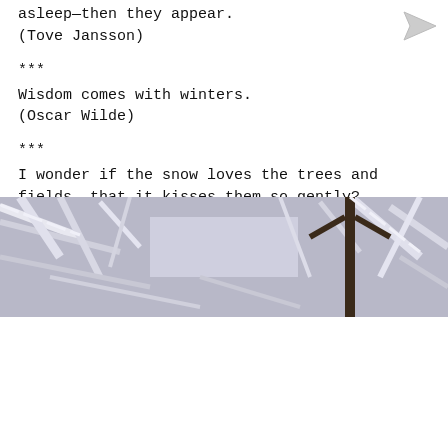asleep—then they appear.
(Tove Jansson)
***
Wisdom comes with winters.
(Oscar Wilde)
***
I wonder if the snow loves the trees and fields, that it kisses them so gently? And then it covers them up snug, you know, with a white quilt; and perhaps it says, “Go to sleep, darlings, till the summer comes again.
(Lewis Carroll)
[Figure (photo): Black and white photograph of snow-covered tree branches in winter, with a lamp post visible in the background.]